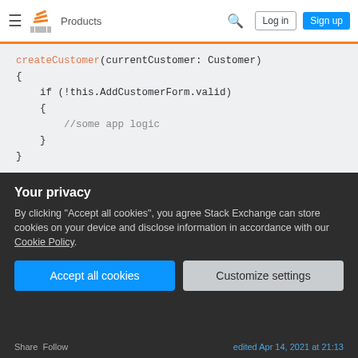≡  [Stack Overflow logo]  Products  🔍  Log in  Sign up
[Figure (screenshot): Code block showing createCustomer function with TypeScript-like syntax: createCustomer(currentCustomer: Customer) { if (!this.AddCustomerForm.valid) { //some app logic } }]
this.AddCustomerForm.valid returns false, but everything looks good.
I have tried to find with checking the status property
Your privacy
By clicking "Accept all cookies", you agree Stack Exchange can store cookies on your device and disclose information in accordance with our Cookie Policy.
Accept all cookies  Customize settings
Share  Follow                edited Apr 14, 2021 at 21:13